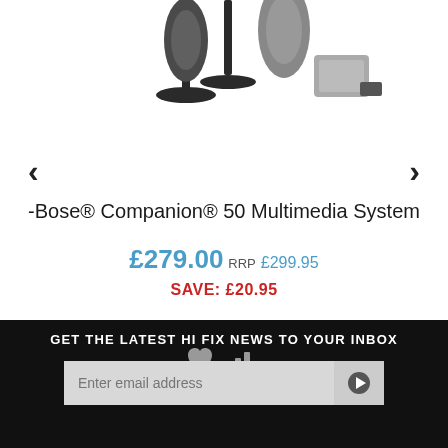[Figure (photo): Partial top view of Bose Companion 50 Multimedia Speaker System product image cropped at top]
-Bose® Companion® 50 Multimedia System
£279.00 RRP £299.95
SAVE: £20.95
[Figure (other): Heart icon (wishlist) and bar chart icon (compare) in grey]
GET THE LATEST HI FIX NEWS TO YOUR INBOX
Enter email address